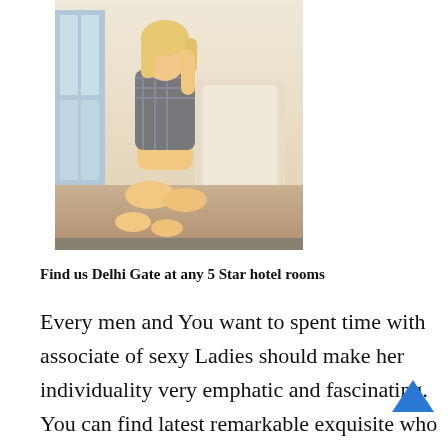[Figure (photo): A blonde woman posing seated/kneeling on the floor in front of a chair, wearing a plaid outfit, indoors near a window]
Find us Delhi Gate at any 5 Star hotel rooms
Every men and You want to spent time with associate of sexy Ladies should make her individuality very emphatic and fascinating. You can find latest remarkable exquisite who can be your entertainment companion and